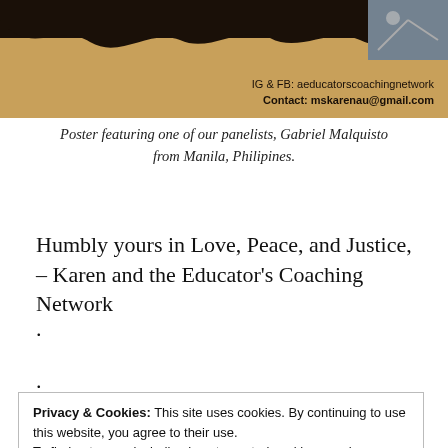[Figure (illustration): Banner image with dark brown/black wavy top edge over a tan/gold background. Text overlay reads 'IG & FB: aeducatorscoachingnetwork' and 'Contact: mskarenau@gmail.com'. A small photographic image appears in the upper right corner.]
Poster featuring one of our panelists, Gabriel Malquisto from Manila, Philipines.
Humbly yours in Love, Peace, and Justice,
– Karen and the Educator's Coaching Network
.
.
Privacy & Cookies: This site uses cookies. By continuing to use this website, you agree to their use.
To find out more, including how to control cookies, see here: Cookie Policy
Close and accept